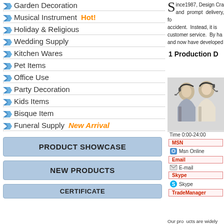Garden Decoration
Musical Instrument Hot!
Holiday & Religious
Wedding Supply
Kitchen Wares
Pet Items
Office Use
Party Decoration
Kids Items
Bisque Item
Funeral Supply New Arrival
PRODUCT SHOWCASE
NEW PRODUCTS
CERTIFICATE
Since1987, Design Cra... and prompt delivery, for... accident. Instead, it is... customer service. By ha... and now have developed
1 Production D...
[Figure (photo): Two women wearing headsets, customer service representatives]
Time 0:00-24:00
MSN
Msn Online
Email
E-mail
Skype
Skype
TradeManager
Our products are widely...